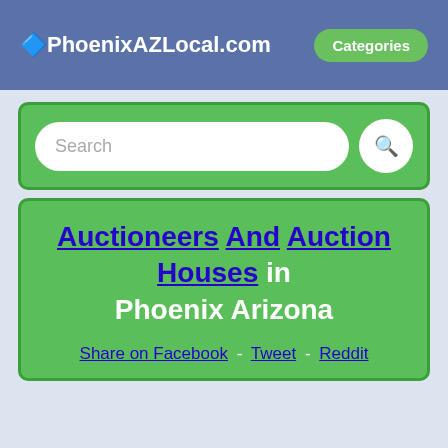🔷PhoenixAZLocal.com  Categories
Search
Auctioneers And Auction Houses in Phoenix Arizona
Share on Facebook - Tweet - Reddit